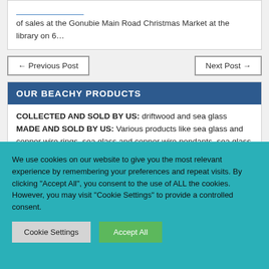of sales at the Gonubie Main Road Christmas Market at the library on 6…
← Previous Post
Next Post →
OUR BEACHY PRODUCTS
COLLECTED AND SOLD BY US: driftwood and sea glass MADE AND SOLD BY US: Various products like sea glass and copper wire rings, sea glass and copper wire pendants, sea glass and copper wire necklaces and bracelets (pendants on leather strip), and some driftwood items.
We use cookies on our website to give you the most relevant experience by remembering your preferences and repeat visits. By clicking "Accept All", you consent to the use of ALL the cookies. However, you may visit "Cookie Settings" to provide a controlled consent.
Cookie Settings
Accept All